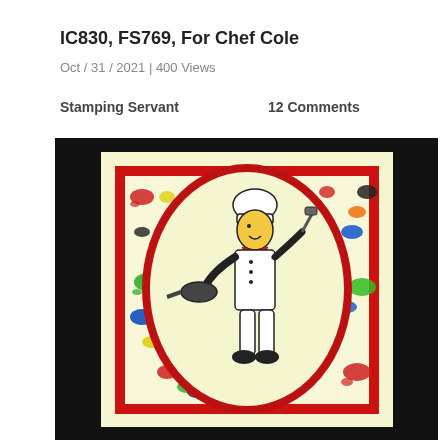IC830, FS769, For Chef Cole
Oct / 31 / 2021 | 400 Views
Stamping Servant
12 Comments
[Figure (photo): A handmade greeting card featuring a cartoon chef character in an oval frame surrounded by colorful paint splatter background on cream/yellow card stock with a red border.]